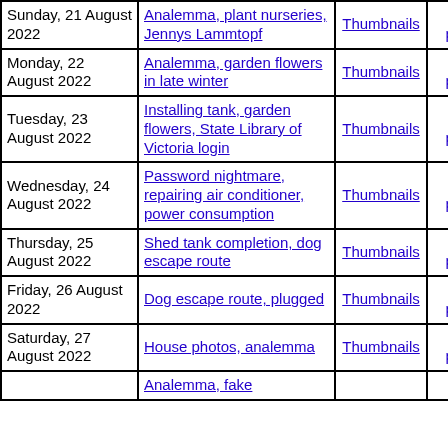| Date | Topic | Thumbnails | Small photos | diary |
| --- | --- | --- | --- | --- |
| Sunday, 21 August 2022 | Analemma, plant nurseries, Jennys Lammtopf | Thumbnails | Small photos | diary |
| Monday, 22 August 2022 | Analemma, garden flowers in late winter | Thumbnails | Small photos | diary |
| Tuesday, 23 August 2022 | Installing tank, garden flowers, State Library of Victoria login | Thumbnails | Small photos | diary |
| Wednesday, 24 August 2022 | Password nightmare, repairing air conditioner, power consumption | Thumbnails | Small photos | diary |
| Thursday, 25 August 2022 | Shed tank completion, dog escape route | Thumbnails | Small photos | diary |
| Friday, 26 August 2022 | Dog escape route, plugged | Thumbnails | Small photos | diary |
| Saturday, 27 August 2022 | House photos, analemma | Thumbnails | Small photos | diary |
|  | Analemma, fake |  |  |  |